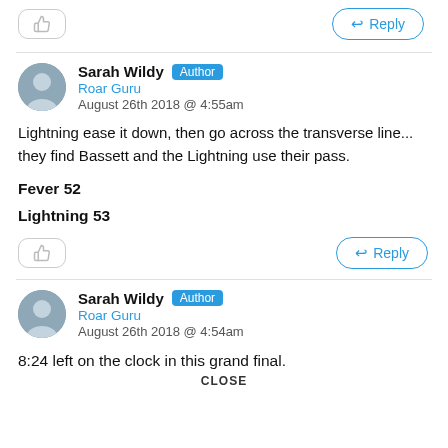[Figure (other): Like button (thumbs up icon, greyed out) and Reply button (blue outline)]
Sarah Wildy Author
Roar Guru
August 26th 2018 @ 4:55am
Lightning ease it down, then go across the transverse line... they find Bassett and the Lightning use their pass.
Fever 52
Lightning 53
[Figure (other): Like button (thumbs up icon, greyed out) and Reply button (blue outline)]
Sarah Wildy Author
Roar Guru
August 26th 2018 @ 4:54am
8:24 left on the clock in this grand final.
CLOSE